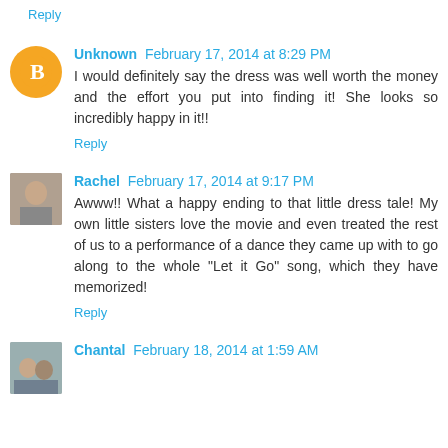Reply
Unknown  February 17, 2014 at 8:29 PM
I would definitely say the dress was well worth the money and the effort you put into finding it! She looks so incredibly happy in it!!
Reply
Rachel  February 17, 2014 at 9:17 PM
Awww!! What a happy ending to that little dress tale! My own little sisters love the movie and even treated the rest of us to a performance of a dance they came up with to go along to the whole "Let it Go" song, which they have memorized!
Reply
Chantal  February 18, 2014 at 1:59 AM